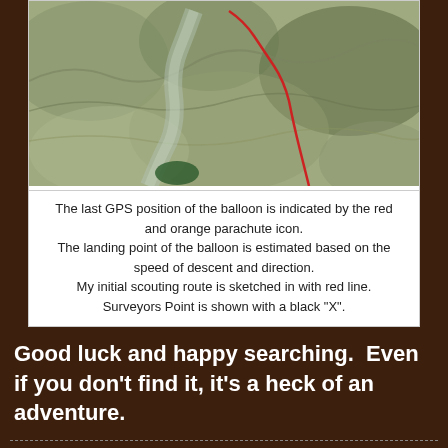[Figure (map): Topographic terrain map with a red line indicating scouting route]
The last GPS position of the balloon is indicated by the red and orange parachute icon.
The landing point of the balloon is estimated based on the speed of descent and direction.
My initial scouting route is sketched in with red line.
Surveyors Point is shown with a black "X".
Good luck and happy searching.  Even if you don't find it, it's a heck of an adventure.
Hikin' Jim at 9:23 PM
Share
31 comments:
Unknown May 2, 2017 at 11:00 PM